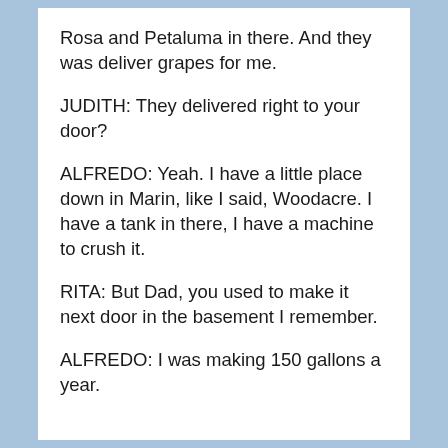Rosa and Petaluma in there. And they was deliver grapes for me.
JUDITH: They delivered right to your door?
ALFREDO: Yeah. I have a little place down in Marin, like I said, Woodacre. I have a tank in there, I have a machine to crush it.
RITA: But Dad, you used to make it next door in the basement I remember.
ALFREDO: I was making 150 gallons a year.